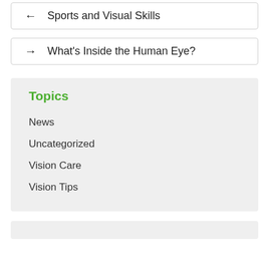← Sports and Visual Skills
→ What's Inside the Human Eye?
Topics
News
Uncategorized
Vision Care
Vision Tips